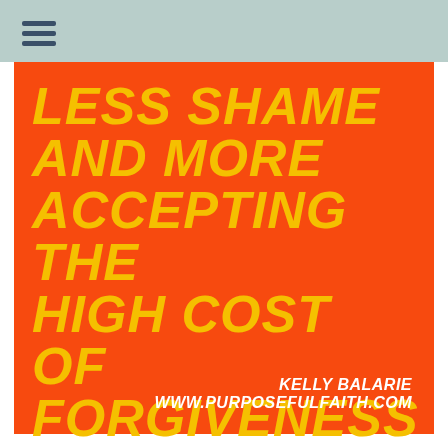LESS SHAME AND MORE ACCEPTING THE HIGH COST OF FORGIVENESS PAID BY CHRIST.
KELLY BALARIE
www.purposefulfaith.com